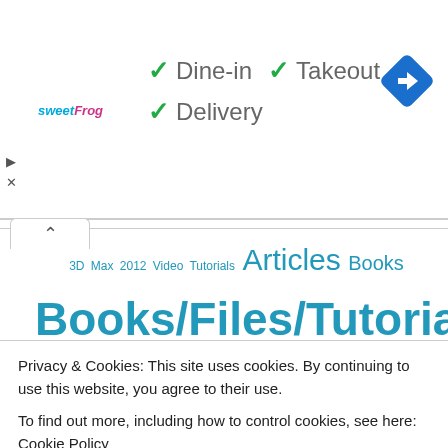[Figure (screenshot): Ad banner with sweetFrog logo, dine-in/takeout/delivery checkmarks, and navigation arrow icon]
[Figure (infographic): Tag cloud of civil engineering topics including Books/Files/Tutorials, Civil Engineering Books, civil engineering jobs, Construction Materials, etc.]
Privacy & Cookies: This site uses cookies. By continuing to use this website, you agree to their use.
To find out more, including how to control cookies, see here: Cookie Policy
Close and accept
Engineering Tests/Experiments transportation Tutorials